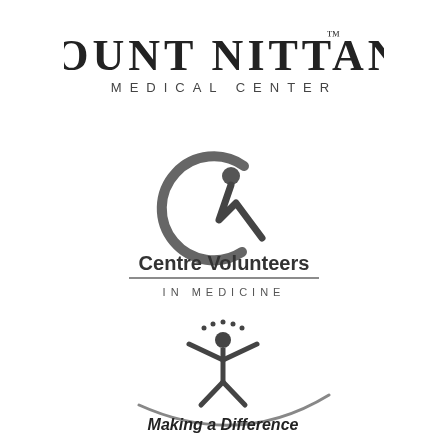[Figure (logo): Mount Nittany Medical Center logo with large serif uppercase text and trademark symbol]
[Figure (logo): Centre Volunteers in Medicine logo with circular C shape and human figure icon, bold text 'Centre Volunteers' with horizontal rule and 'IN MEDICINE' below]
[Figure (logo): Making a Difference logo with stylized human figure with raised arms and dots above, standing on a curved arc, italic bold text 'Making a Difference']